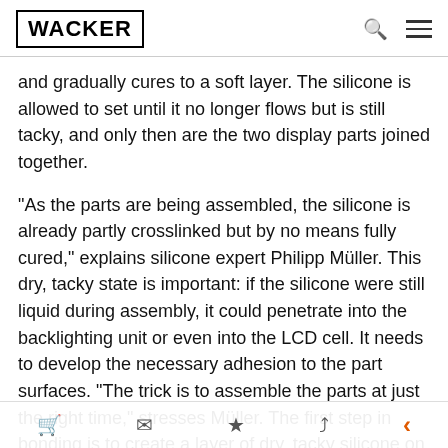WACKER
and gradually cures to a soft layer. The silicone is allowed to set until it no longer flows but is still tacky, and only then are the two display parts joined together.

“As the parts are being assembled, the silicone is already partly crosslinked but by no means fully cured,” explains silicone expert Philipp Müller. This dry, tacky state is important: if the silicone were still liquid during assembly, it could penetrate into the backlighting unit or even into the LCD cell. It needs to develop the necessary adhesion to the part surfaces. “The trick is to assemble the parts at just the right time,” stresses Müller. The first step in bonding is to create a layer of dry, tacky silicone on